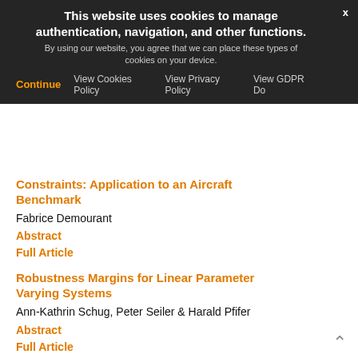[Figure (screenshot): Cookie consent banner overlay on a dark background with title, body text, close button, and navigation links including Continue, View Cookies Policy, View Privacy Policy, View GDPR Do]
Constraints: Application to an Aircraft Benchmark
Fabrice Demourant
Abstract
Full Article
Robustness Margins for Linear Parameter Varying Systems
Ann-Kathrin Schug, Peter Seiler & Harald Pfifer
Abstract
Full Article
Anti-Windup Algorithms for Pilot-Induced-Oscillation Alleviation
Isabelle Queinnec, Sophie Tarbouriech, Jean-Marc Biannic & Christophe Prieur
Abstract
Full Article